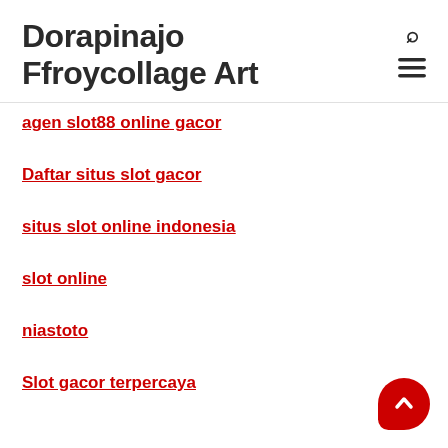Dorapinajo Ffroycollage Art
agen slot88 online gacor
Daftar situs slot gacor
situs slot online indonesia
slot online
niastoto
Slot gacor terpercaya